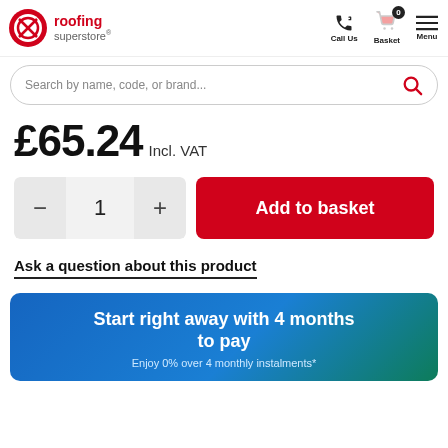roofing superstore — Call Us | Basket 0 | Menu
Search by name, code, or brand...
£65.24 Incl. VAT
- 1 +   Add to basket
Ask a question about this product
Start right away with 4 months to pay
Enjoy 0% over 4 monthly instalments*